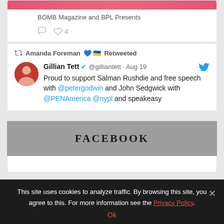[Figure (screenshot): Top portion of Twitter card showing BOMB Magazine and BPL Presents with like count of 4]
BOMB Magazine and BPL Presents
♡ 4
Amanda Foreman 💙 🇺🇦 Retweeted
Gillian Tett ✓ @gilliantett · Aug 19
Proud to support Salman Rushdie and free speech with @petergodwin and John Sedgwick with @PENAmerica @nypl and speakeasy
FACEBOOK
This site uses cookies to analyze traffic. By browsing this site, you agree to this. For more information see the Privacy Policy.
Ok